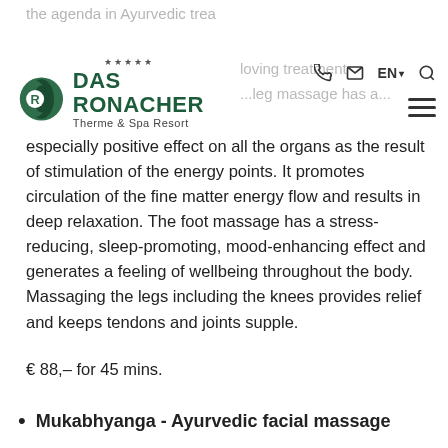DAS RONACHER Therme & Spa Resort – navigation header with logo, phone, mail, EN language selector, search, and hamburger menu
especially positive effect on all the organs as the result of stimulation of the energy points. It promotes circulation of the fine matter energy flow and results in deep relaxation. The foot massage has a stress-reducing, sleep-promoting, mood-enhancing effect and generates a feeling of wellbeing throughout the body. Massaging the legs including the knees provides relief and keeps tendons and joints supple.
€ 88,– for 45 mins.
Mukabhyanga - Ayurvedic facial massage